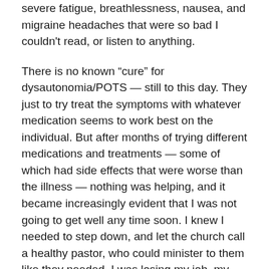severe fatigue, breathlessness, nausea, and migraine headaches that were so bad I couldn't read, or listen to anything.
There is no known “cure” for dysautonomia/POTS — still to this day. They just to try treat the symptoms with whatever medication seems to work best on the individual. But after months of trying different medications and treatments — some of which had side effects that were worse than the illness — nothing was helping, and it became increasingly evident that I was not going to get well any time soon. I knew I needed to step down, and let the church call a healthy pastor, who could minister to them like they needed. I was losing my job, my career, and my ministry. We had to sell our home, Cheryl’s dream house, along with about 2/3 of our possessions. I was so sick while we were moving that I couldn’t even stand to